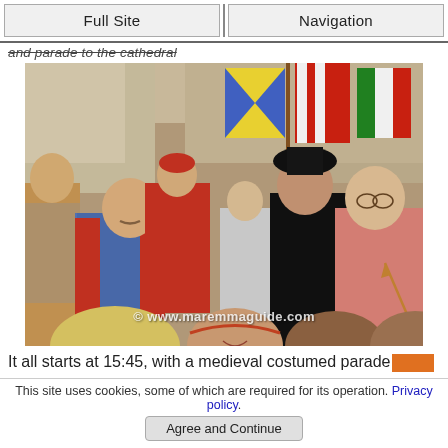Full Site | Navigation
and parade to the cathedral
[Figure (photo): Medieval costumed parade scene with people dressed in historical costumes carrying shields, arrows, and wearing colorful medieval garments. Colorful flags and banners visible in background. Watermark: © www.maremmaguide.com]
It all starts at 15:45, with a medieval costumed parade
This site uses cookies, some of which are required for its operation. Privacy policy.
Agree and Continue